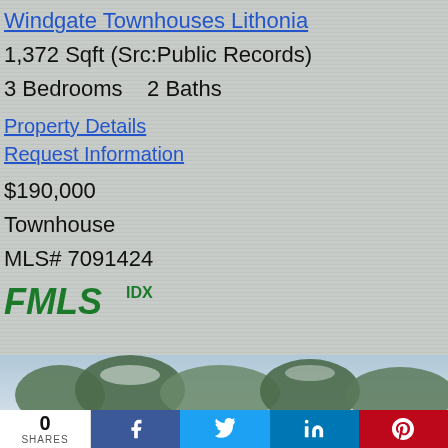Windgate Townhouses Lithonia
1,372 Sqft (Src:Public Records)
3 Bedrooms   2 Baths
Property Details
Request Information
$190,000
Townhouse
MLS# 7091424
[Figure (logo): FMLS IDX logo — green and dark green text with red accent]
[Figure (photo): Aerial or landscape photo of trees and greenery]
0 SHARES
[Figure (infographic): Social share buttons: Facebook, Twitter, LinkedIn, Pinterest]